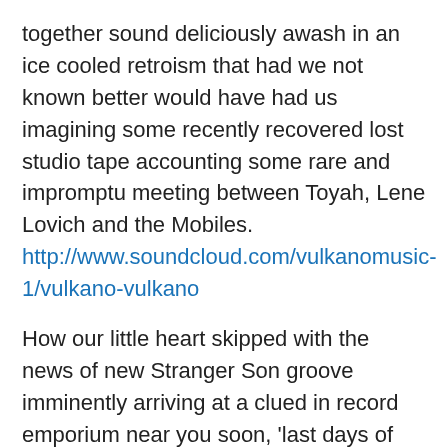together sound deliciously awash in an ice cooled retroism that had we not known better would have had us imagining some recently recovered lost studio tape accounting some rare and impromptu meeting between Toyah, Lene Lovich and the Mobiles. http://www.soundcloud.com/vulkanomusic-1/vulkano-vulkano
How our little heart skipped with the news of new Stranger Son groove imminently arriving at a clued in record emporium near you soon, 'last days of butterfly' be the albums name – its due out on leonard skully records with 'I got lucky' being outed as an early warning taster as to what to expect. Alas not the happy clappy tune of old made famous by the King but a wallowing brooding bastard of a sort whose gritted sores take their cue from John Copper Clarke and the Fall this is bleakest offbeat...